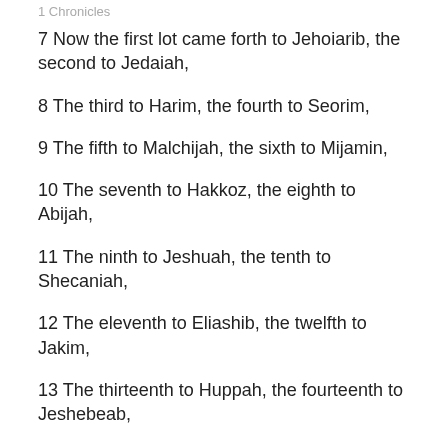1 Chronicles
7 Now the first lot came forth to Jehoiarib, the second to Jedaiah,
8 The third to Harim, the fourth to Seorim,
9 The fifth to Malchijah, the sixth to Mijamin,
10 The seventh to Hakkoz, the eighth to Abijah,
11 The ninth to Jeshuah, the tenth to Shecaniah,
12 The eleventh to Eliashib, the twelfth to Jakim,
13 The thirteenth to Huppah, the fourteenth to Jeshebeab,
14 The fifteenth to Bilgah, the sixteenth to Immer,
15 The seventeenth to Hezir, the eighteenth to...